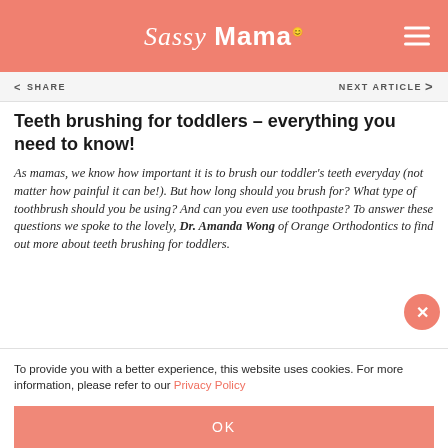Sassy Mama
SHARE   NEXT ARTICLE >
Teeth brushing for toddlers – everything you need to know!
As mamas, we know how important it is to brush our toddler's teeth everyday (not matter how painful it can be!). But how long should you brush for? What type of toothbrush should you be using? And can you even use toothpaste? To answer these questions we spoke to the lovely, Dr. Amanda Wong of Orange Orthodontics to find out more about teeth brushing for toddlers.
To provide you with a better experience, this website uses cookies. For more information, please refer to our Privacy Policy
OK